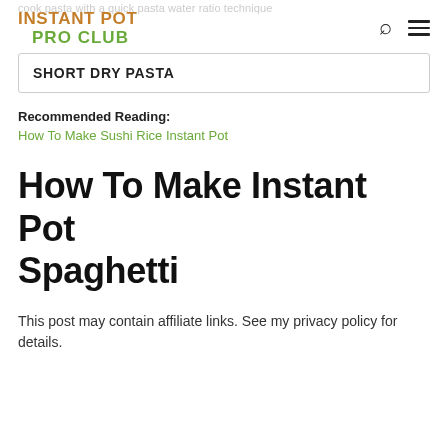INSTANT POT PRO CLUB
SHORT DRY PASTA
Recommended Reading:
How To Make Sushi Rice Instant Pot
How To Make Instant Pot Spaghetti
This post may contain affiliate links. See my privacy policy for details.